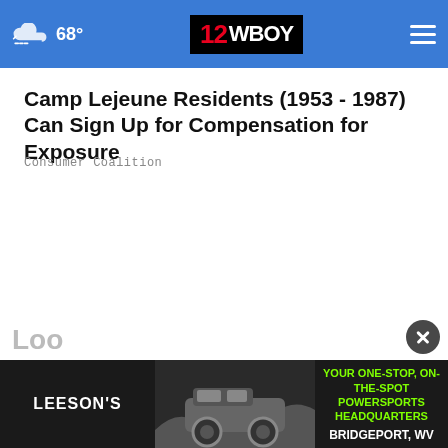68° | 12WBOY
Camp Lejeune Residents (1953 - 1987) Can Sign Up for Compensation for Exposure
Consumer Coalition
[Figure (photo): Grid of six black-and-white and one color yearbook-style portrait photos of young individuals]
[Figure (photo): Advertisement banner: Leeson's powersports, jeep image, text: YOUR ONE-STOP, ON-THE-SPOT POWERSPORTS HEADQUARTERS, BRIDGEPORT, WV]
Loo